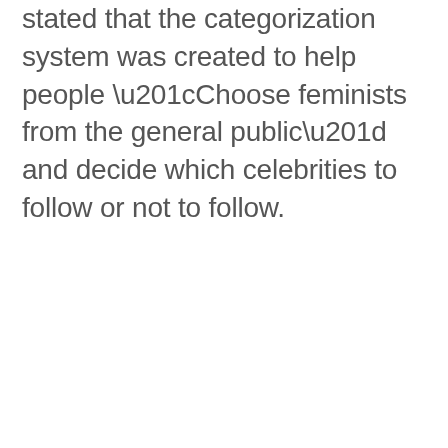stated that the categorization system was created to help people “Choose feminists from the general public” and decide which celebrities to follow or not to follow.